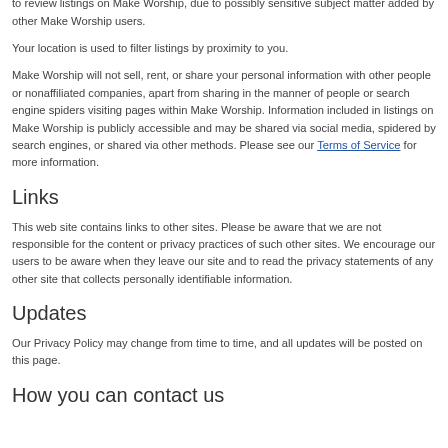Your birthday is used to determine your age. You must be 18 years or older in order to review listings on Make Worship, due to possibly sensitive subject matter added by other Make Worship users.
Your location is used to filter listings by proximity to you.
Make Worship will not sell, rent, or share your personal information with other people or nonaffiliated companies, apart from sharing in the manner of people or search engine spiders visiting pages within Make Worship. Information included in listings on Make Worship is publicly accessible and may be shared via social media, spidered by search engines, or shared via other methods. Please see our Terms of Service for more information.
Links
This web site contains links to other sites. Please be aware that we are not responsible for the content or privacy practices of such other sites. We encourage our users to be aware when they leave our site and to read the privacy statements of any other site that collects personally identifiable information.
Updates
Our Privacy Policy may change from time to time, and all updates will be posted on this page.
How you can contact us